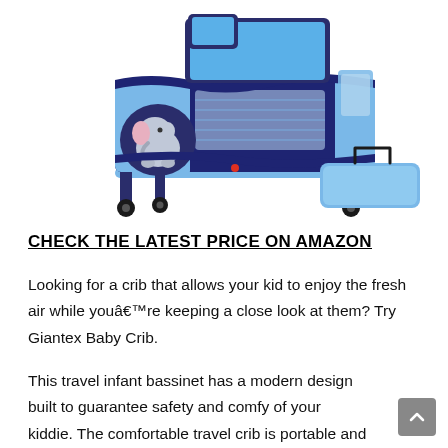[Figure (photo): Blue baby travel crib/playpen with elephant cartoon design on the side, navy blue and light blue color scheme, with wheels and a separate folded carrying bag shown to the right]
CHECK THE LATEST PRICE ON AMAZON
Looking for a crib that allows your kid to enjoy the fresh air while youâre keeping a close look at them? Try Giantex Baby Crib.
This travel infant bassinet has a modern design built to guarantee safety and comfy of your kiddie. The comfortable travel crib is portable and durable. It can